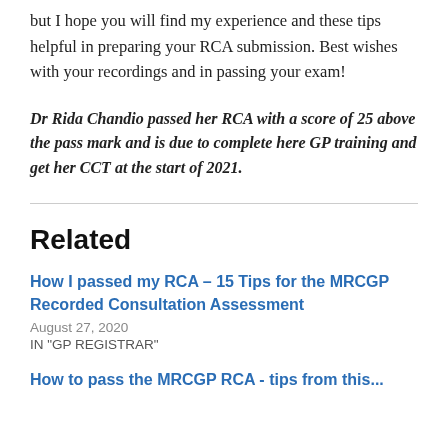but I hope you will find my experience and these tips helpful in preparing your RCA submission. Best wishes with your recordings and in passing your exam!
Dr Rida Chandio passed her RCA with a score of 25 above the pass mark and is due to complete here GP training and get her CCT at the start of 2021.
Related
How I passed my RCA – 15 Tips for the MRCGP Recorded Consultation Assessment
August 27, 2020
IN "GP REGISTRAR"
How to pass the MRCGP RCA - tips from this...